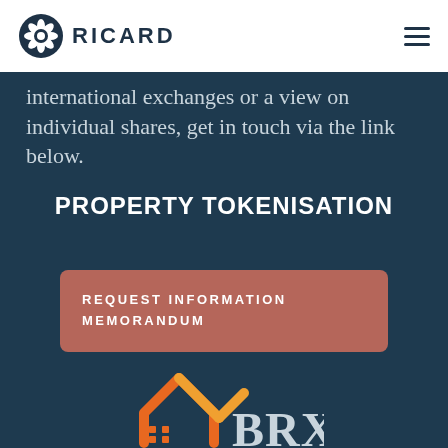RICARD
international exchanges or a view on individual shares, get in touch via the link below.
PROPERTY TOKENISATION
REQUEST INFORMATION MEMORANDUM
[Figure (logo): BRX property tokenisation logo — orange house/roof icon with 'BRX' text in dark color]
Leading the way in “property tokenisation”